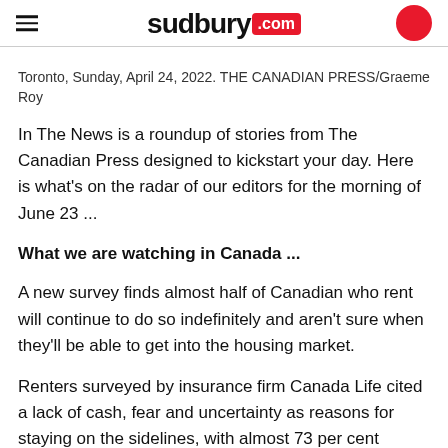sudbury.com
Toronto, Sunday, April 24, 2022. THE CANADIAN PRESS/Graeme Roy
In The News is a roundup of stories from The Canadian Press designed to kickstart your day. Here is what's on the radar of our editors for the morning of June 23 ...
What we are watching in Canada ...
A new survey finds almost half of Canadian who rent will continue to do so indefinitely and aren't sure when they'll be able to get into the housing market.
Renters surveyed by insurance firm Canada Life cited a lack of cash, fear and uncertainty as reasons for staying on the sidelines, with almost 73 per cent saying it's a bad time to buy a house and 17 per cent saying